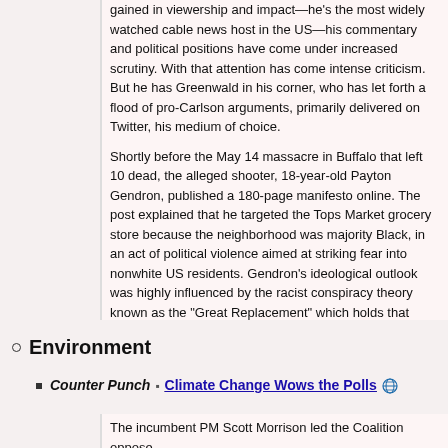gained in viewership and impact—he's the most widely watched cable news host in the US—his commentary and political positions have come under increased scrutiny. With that attention has come intense criticism. But he has Greenwald in his corner, who has let forth a flood of pro-Carlson arguments, primarily delivered on Twitter, his medium of choice.
Shortly before the May 14 massacre in Buffalo that left 10 dead, the alleged shooter, 18-year-old Payton Gendron, published a 180-page manifesto online. The post explained that he targeted the Tops Market grocery store because the neighborhood was majority Black, in an act of political violence aimed at striking fear into nonwhite US residents. Gendron's ideological outlook was highly influenced by the racist conspiracy theory known as the "Great Replacement" which holds that whites in the US are being systematically replaced by people of color in a demographic change that's being masterminded by a cabal of elites.
Environment
Counter Punch ▶ Climate Change Wows the Polls 🌐
The incumbent PM Scott Morrison led the Coalition oppose